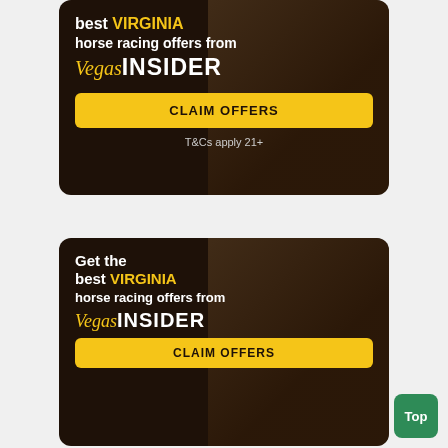[Figure (screenshot): Advertisement card for VegasInsider horse racing offers for Virginia. Dark brown background with horse racing silhouette. Text: 'best VIRGINIA horse racing offers from Vegas INSIDER'. Yellow CLAIM OFFERS button. T&Cs apply 21+]
[Figure (screenshot): Second advertisement card for VegasInsider horse racing offers for Virginia. Dark brown background with horse racing silhouette. Text: 'Get the best VIRGINIA horse racing offers from Vegas INSIDER'. Yellow CLAIM OFFERS button partially visible at bottom. Green 'Top' button in lower right corner.]